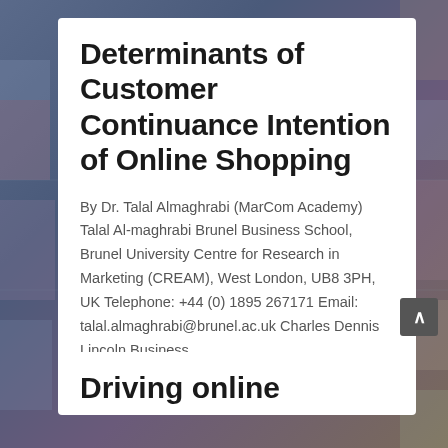Determinants of Customer Continuance Intention of Online Shopping
By Dr. Talal Almaghrabi (MarCom Academy) Talal Al-maghrabi Brunel Business School, Brunel University Centre for Research in Marketing (CREAM), West London, UB8 3PH, UK Telephone: +44 (0) 1895 267171 Email: talal.almaghrabi@brunel.ac.uk Charles Dennis Lincoln Business...
Driving online